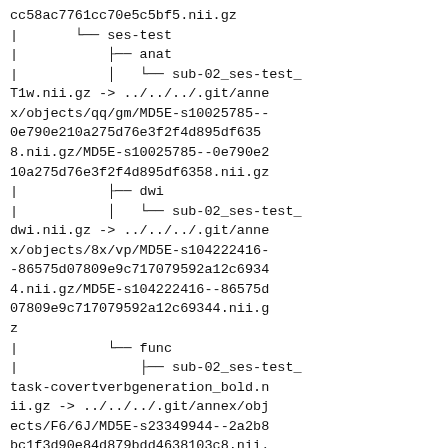cc58ac7761cc70e5c5bf5.nii.gz
|       └── ses-test
|           ├── anat
|           │   └── sub-02_ses-test_T1w.nii.gz -> ../../../.git/annex/objects/qq/gm/MD5E-s10025785--0e790e210a275d76e3f2f4d895df6358.nii.gz/MD5E-s10025785--0e790e210a275d76e3f2f4d895df6358.nii.gz
|           ├── dwi
|           │   └── sub-02_ses-test_dwi.nii.gz -> ../../../.git/annex/objects/8x/vp/MD5E-s104222416--86575d07809e9c717079592a12c69344.nii.gz/MD5E-s104222416--86575d07809e9c717079592a12c69344.nii.gz
|           └── func
|               ├── sub-02_ses-test_task-covertverbgeneration_bold.nii.gz -> ../../../.git/annex/objects/F6/6J/MD5E-s23349944--2a2b8bc1f3d90e84d879bdd4638103c8.nii.gz/MD5E-s23349944--2a2b8bc1f3d90e84d879bdd4638103c8.nii.gz
|               ├── sub-02_ses-test_task-fingerfootlips_bold.nii.gz